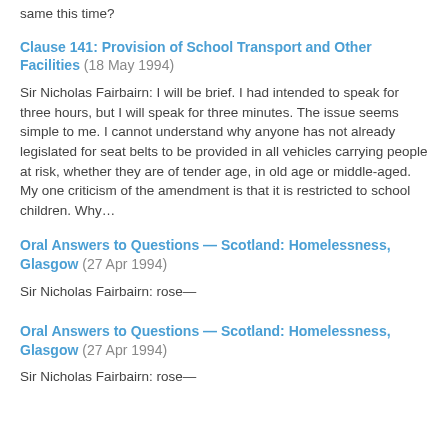same this time?
Clause 141: Provision of School Transport and Other Facilities (18 May 1994)
Sir Nicholas Fairbairn: I will be brief. I had intended to speak for three hours, but I will speak for three minutes. The issue seems simple to me. I cannot understand why anyone has not already legislated for seat belts to be provided in all vehicles carrying people at risk, whether they are of tender age, in old age or middle-aged. My one criticism of the amendment is that it is restricted to school children. Why…
Oral Answers to Questions — Scotland: Homelessness, Glasgow (27 Apr 1994)
Sir Nicholas Fairbairn: rose—
Oral Answers to Questions — Scotland: Homelessness, Glasgow (27 Apr 1994)
Sir Nicholas Fairbairn: rose—